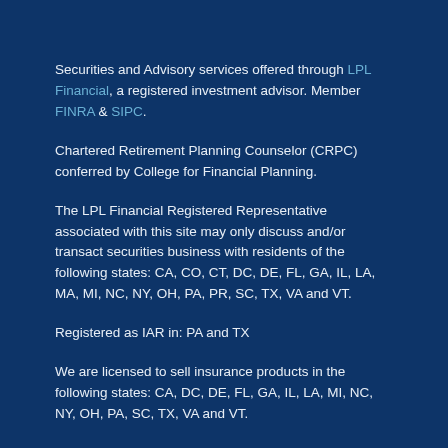Securities and Advisory services offered through LPL Financial, a registered investment advisor. Member FINRA & SIPC.
Chartered Retirement Planning Counselor (CRPC) conferred by College for Financial Planning.
The LPL Financial Registered Representative associated with this site may only discuss and/or transact securities business with residents of the following states: CA, CO, CT, DC, DE, FL, GA, IL, LA, MA, MI, NC, NY, OH, PA, PR, SC, TX, VA and VT.
Registered as IAR in: PA and TX
We are licensed to sell insurance products in the following states: CA, DC, DE, FL, GA, IL, LA, MI, NC, NY, OH, PA, SC, TX, VA and VT.
Site Map